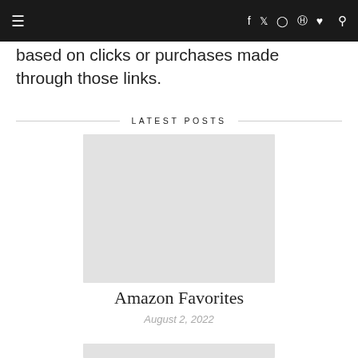≡  f  𝕏  ⬜  ⬜  ♥  🔍
based on clicks or purchases made through those links.
LATEST POSTS
[Figure (other): Light gray rectangular placeholder image for a blog post thumbnail]
Amazon Favorites
August 2, 2022
[Figure (other): Partial light gray rectangular placeholder image at the bottom of the page]